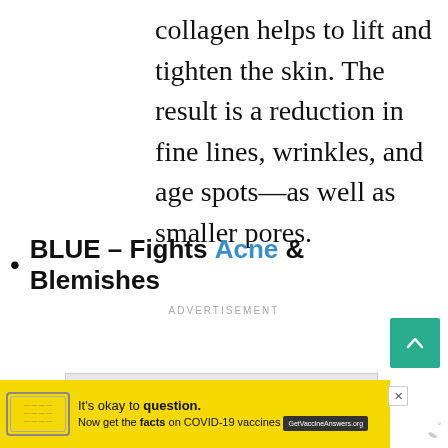collagen helps to lift and tighten the skin. The result is a reduction in fine lines, wrinkles, and age spots—as well as smaller pores.
BLUE – Fights Acne & Blemishes
ADVERTISEMENT
[Figure (other): Scroll to top button (green/teal background with upward chevron arrow)]
[Figure (other): Advertisement placeholder box (grey rectangle)]
[Figure (other): Bottom advertisement banner: yellow background with stamp icon, text 'It's okay to question. Now get the facts on COVID-19 vaccines GetVaccineAnswers.org' and Merriam-Webster logo]